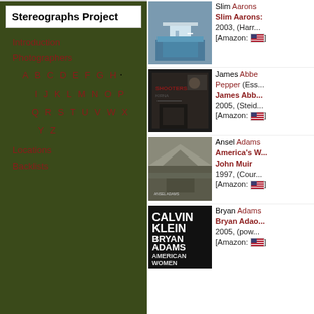Stereographs Project
Introduction
Photographers
A B C D E F G H · I J K L M N O P Q R S T U V W X Y Z
Locations
Backlists
[Figure (photo): Book cover: pool scene, Slim Aarons]
Slim Aarons: 2003, (Harr... [Amazon: US flag]
[Figure (photo): Book cover: dark room scene, James Abbé / Pepper]
James Abbé / Pepper (Ess... James Abb... 2005, (Steid... [Amazon: US flag]
[Figure (photo): Book cover: wilderness landscape, Ansel Adams]
Ansel Adams: America's W... John Muir 1997, (Cour... [Amazon: US flag]
[Figure (photo): Book cover: Calvin Klein / Bryan Adams / American Women]
Bryan Adams: Bryan Adao... 2005, (pow... [Amazon: US flag]